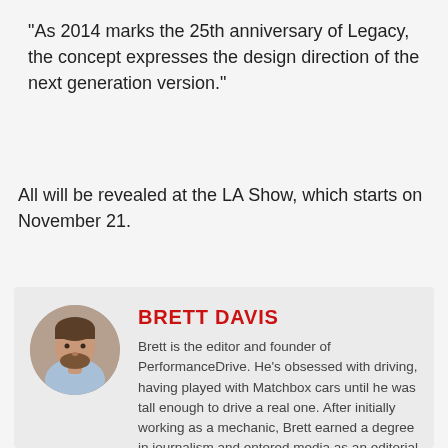“As 2014 marks the 25th anniversary of Legacy, the concept expresses the design direction of the next generation version.”
All will be revealed at the LA Show, which starts on November 21.
[Figure (photo): Circular headshot photo of Brett Davis, a man with a beard wearing a light blue shirt]
BRETT DAVIS
Brett is the editor and founder of PerformanceDrive. He’s obsessed with driving, having played with Matchbox cars until he was tall enough to drive a real one. After initially working as a mechanic, Brett earned a degree in journalism and entered media as an editorial assistant at Top Gear